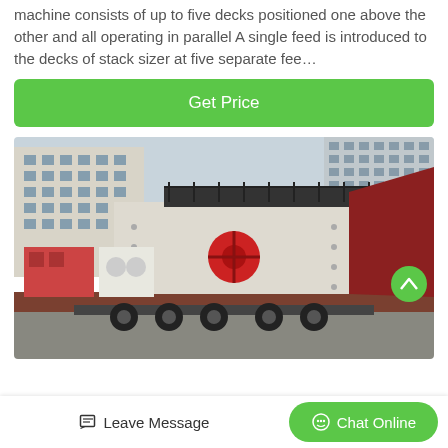machine consists of up to five decks positioned one above the other and all operating in parallel A single feed is introduced to the decks of stack sizer at five separate fee…
[Figure (other): Button with green background and white text reading 'Get Price']
[Figure (photo): Large industrial vibrating screen machine loaded on a flatbed truck trailer, parked in front of a multi-story commercial building. The machine is cream/white colored with dark metal framework on top and a red hopper at one end. A red piece of equipment and white machinery are also visible on the truck.]
Leave Message
Chat Online